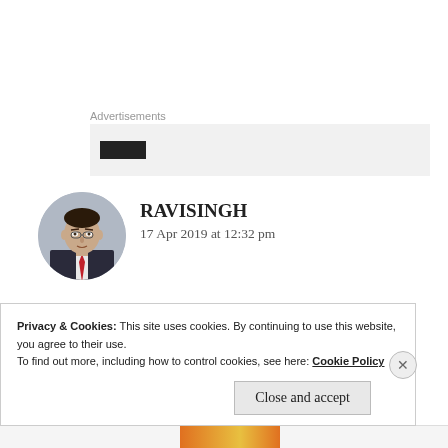Advertisements
[Figure (screenshot): Advertisements banner placeholder box with a dark rectangle inside a light gray background area]
[Figure (photo): Circular avatar photo of a man in a dark suit with a red tie]
RAVISINGH
17 Apr 2019 at 12:32 pm
Well studies first! Do you have some exams? wish you good luck,Priya!
Privacy & Cookies: This site uses cookies. By continuing to use this website, you agree to their use.
To find out more, including how to control cookies, see here: Cookie Policy
Close and accept